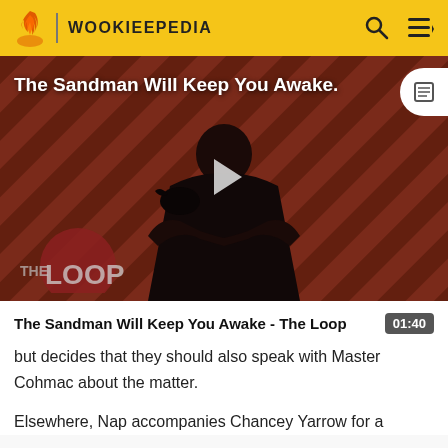WOOKIEEPEDIA
[Figure (screenshot): Video thumbnail showing a dark-cloaked figure against a red diagonal striped background. Title overlay reads 'The Sandman Will Keep You Awake.' with The Loop logo at bottom left and a play button in the center.]
The Sandman Will Keep You Awake - The Loop
but decides that they should also speak with Master Cohmac about the matter.
Elsewhere, Nap accompanies Chancey Yarrow for a